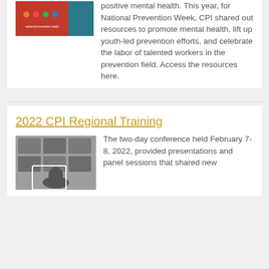[Figure (illustration): National Prevention Week logo with red/teal colors]
positive mental health. This year, for National Prevention Week, CPI shared out resources to promote mental health, lift up youth-led prevention efforts, and celebrate the labor of talented workers in the prevention field. Access the resources here.
2022 CPI Regional Training
[Figure (photo): Person holding a tablet showing a video conference grid of participants]
The two-day conference held February 7-8, 2022, provided presentations and panel sessions that shared new...